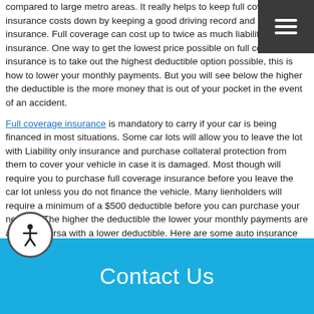compared to large metro areas. It really helps to keep full coverage insurance costs down by keeping a good driving record and continuous insurance. Full coverage can cost up to twice as much liability insurance. One way to get the lowest price possible on full coverage insurance is to take out the highest deductible option possible, this is how to lower your monthly payments. But you will see below the higher the deductible is the more money that is out of your pocket in the event of an accident.
Full coverage insurance is mandatory to carry if your car is being financed in most situations. Some car lots will allow you to leave the lot with Liability only insurance and purchase collateral protection from them to cover your vehicle in case it is damaged. Most though will require you to purchase full coverage insurance before you leave the car lot unless you do not finance the vehicle. Many lienholders will require a minimum of a $500 deductible before you can purchase your new car. The higher the deductible the lower your monthly payments are and vice versa with a lower deductible. Here are some auto insurance companies that sell full coverage in Southlake at an affordable rate:
Save Money Car Insurance
Contact Us